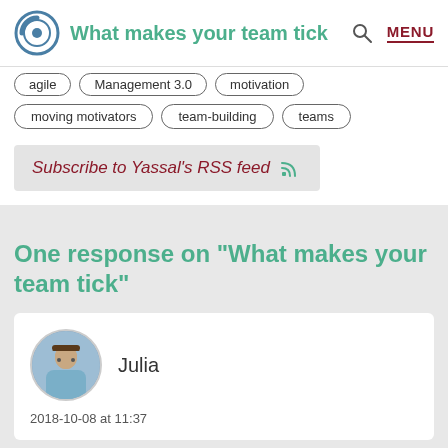What makes your team tick
agile | Management 3.0 | motivation
moving motivators | team-building | teams
Subscribe to Yassal's RSS feed
One response on “What makes your team tick”
Julia
2018-10-08 at 11:37